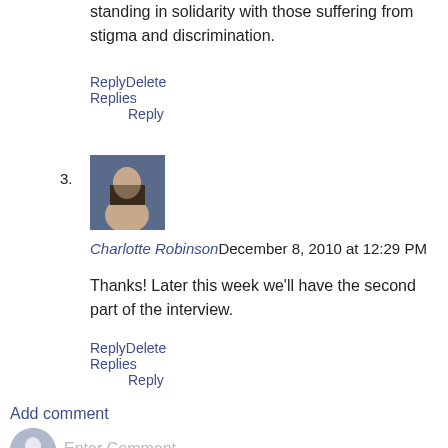standing in solidarity with those suffering from stigma and discrimination.
ReplyDelete
Replies
Reply
[Figure (photo): Profile photo of Charlotte Robinson]
Charlotte RobinsonDecember 8, 2010 at 12:29 PM
Thanks! Later this week we'll have the second part of the interview.
ReplyDelete
Replies
Reply
Add comment
Enter Comment
Load more...
Home
View web version